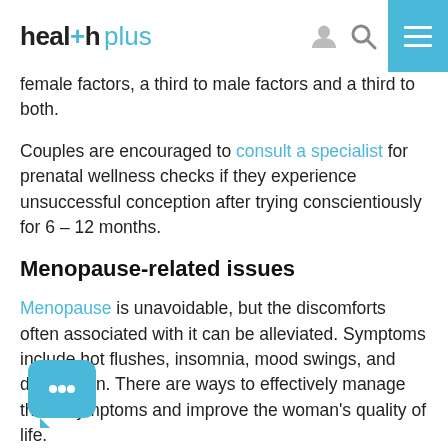health plus
female factors, a third to male factors and a third to both.
Couples are encouraged to consult a specialist for prenatal wellness checks if they experience unsuccessful conception after trying conscientiously for 6 – 12 months.
Menopause-related issues
Menopause is unavoidable, but the discomforts often associated with it can be alleviated. Symptoms include hot flushes, insomnia, mood swings, and depression. There are ways to effectively manage these symptoms and improve the woman's quality of life.
Osteoporosis